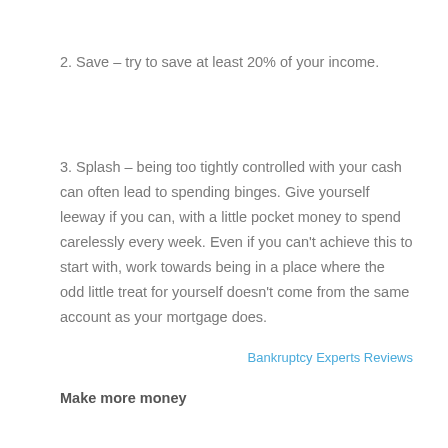2. Save – try to save at least 20% of your income.
3. Splash – being too tightly controlled with your cash can often lead to spending binges. Give yourself leeway if you can, with a little pocket money to spend carelessly every week. Even if you can't achieve this to start with, work towards being in a place where the odd little treat for yourself doesn't come from the same account as your mortgage does.
Bankruptcy Experts Reviews
Make more money